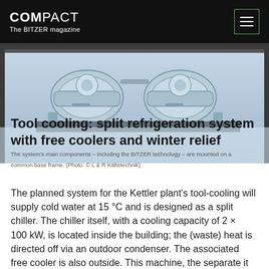COMPACT The BITZER magazine
[Figure (photo): Industrial refrigeration compressor units mounted on a common base frame, viewed from above at an angle. Light blue/grey industrial machinery with cylindrical components.]
The system's main components – including the BITZER technology – are mounted on a common base frame. (Photo: © L & R Kältetechnik)
Tool cooling: split refrigeration system with free coolers and winter relief
The planned system for the Kettler plant's tool-cooling will supply cold water at 15 °C and is designed as a split chiller. The chiller itself, with a cooling capacity of 2 × 100 kW, is located inside the building; the (waste) heat is directed off via an outdoor condenser. The associated free cooler is also outside. This machine, the separate it